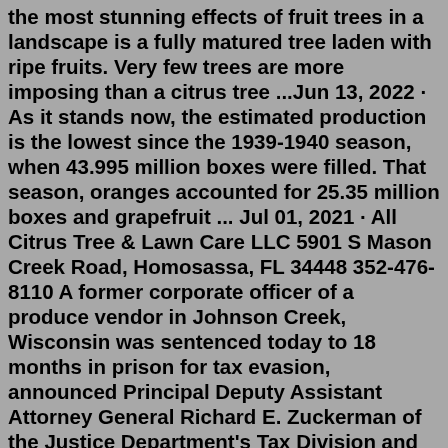the most stunning effects of fruit trees in a landscape is a fully matured tree laden with ripe fruits. Very few trees are more imposing than a citrus tree ...Jun 13, 2022 · As it stands now, the estimated production is the lowest since the 1939-1940 season, when 43.995 million boxes were filled. That season, oranges accounted for 25.35 million boxes and grapefruit ... Jul 01, 2021 · All Citrus Tree & Lawn Care LLC 5901 S Mason Creek Road, Homosassa, FL 34448 352-476-8110 A former corporate officer of a produce vendor in Johnson Creek, Wisconsin was sentenced today to 18 months in prison for tax evasion, announced Principal Deputy Assistant Attorney General Richard E. Zuckerman of the Justice Department's Tax Division and U.S. Attorney Scott C. Blader for the Western District of Wisconsin.Comments and suggestions. We welcome your comments about this publication and suggestions for future editions. You can send us comments through IRS.gov/FormComments.Or you can write to: Internal Revenue Service, Tax Forms and